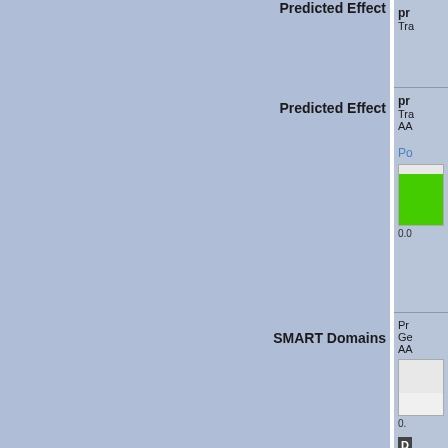| Label | Content |
| --- | --- |
| Predicted Effect | pr
Tra |
| Predicted Effect | pr
Tra
AA

Po
0.0 |
| SMART Domains | Pr
Ge
AA

0.

D
W |